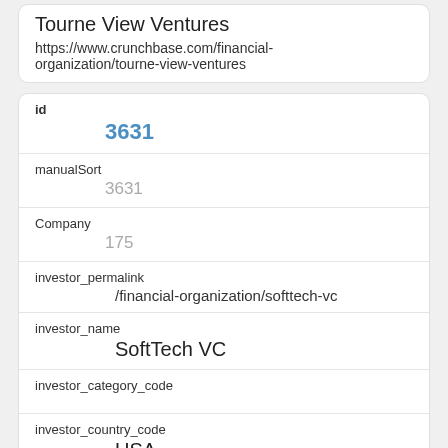Tourne View Ventures
https://www.crunchbase.com/financial-organization/tourne-view-ventures
| field | value |
| --- | --- |
| id | 3631 |
| manualSort | 3631 |
| Company | 175 |
| investor_permalink | /financial-organization/softtech-vc |
| investor_name | SoftTech VC |
| investor_category_code |  |
| investor_country_code | USA |
| investor_state_code | CA |